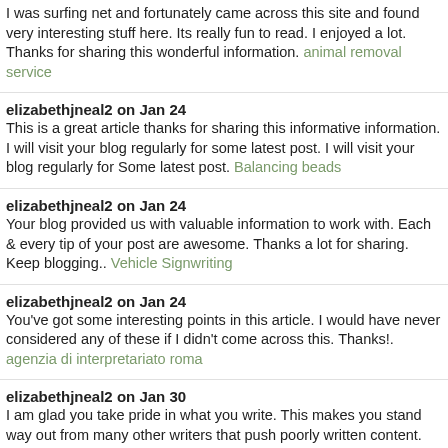I was surfing net and fortunately came across this site and found very interesting stuff here. Its really fun to read. I enjoyed a lot. Thanks for sharing this wonderful information. animal removal service
elizabethjneal2 on Jan 24
This is a great article thanks for sharing this informative information. I will visit your blog regularly for some latest post. I will visit your blog regularly for Some latest post. Balancing beads
elizabethjneal2 on Jan 24
Your blog provided us with valuable information to work with. Each & every tip of your post are awesome. Thanks a lot for sharing. Keep blogging.. Vehicle Signwriting
elizabethjneal2 on Jan 24
You've got some interesting points in this article. I would have never considered any of these if I didn't come across this. Thanks!. agenzia di interpretariato roma
elizabethjneal2 on Jan 30
I am glad you take pride in what you write. This makes you stand way out from many other writers that push poorly written content. pro line sports betting
elizabethjneal2 on Jan 30
I really thank you for the valuable info on this great subject and look forward to more great posts. Thanks a lot for enjoying this beauty article with me. I am appreciating it very much! Looking forward to another great article. Good luck to the author! All the best! Sayings
elizabethjneal2 on Jan 30